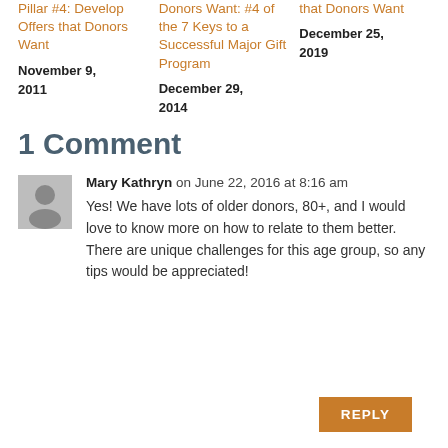Pillar #4: Develop Offers that Donors Want
November 9, 2011
Donors Want: #4 of the 7 Keys to a Successful Major Gift Program
December 29, 2014
that Donors Want
December 25, 2019
1 Comment
Mary Kathryn on June 22, 2016 at 8:16 am
Yes! We have lots of older donors, 80+, and I would love to know more on how to relate to them better. There are unique challenges for this age group, so any tips would be appreciated!
REPLY